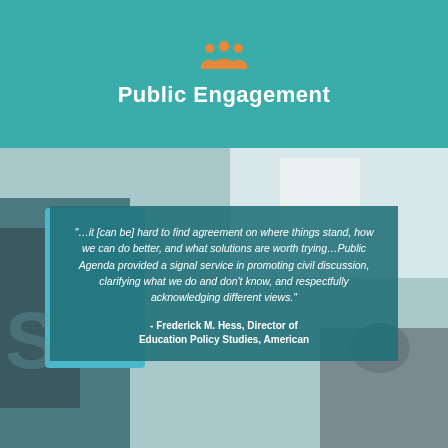Public Engagement
[Figure (photo): Background photo of people in a meeting or civic engagement setting, with a hand holding a document visible on the left side]
"…it [can be] hard to find agreement on where things stand, how we can do better, and what solutions are worth trying…Public Agenda provided a signal service in promoting civil discussion, clarifying what we do and don't know, and respectfully acknowledging different views."
- Frederick M. Hess, Director of Education Policy Studies, American